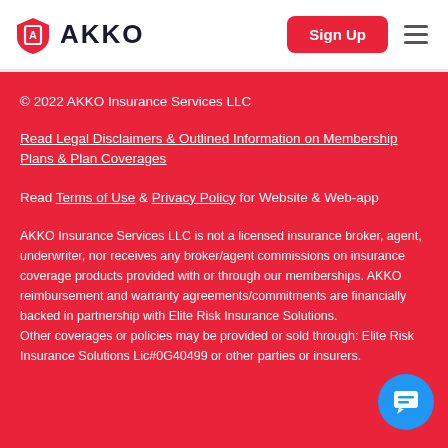AKKO | Sign Up
© 2022 AKKO Insurance Services LLC
Read Legal Disclaimers & Outlined Information on Membership Plans & Plan Coverages
Read Terms of Use & Privacy Policy for Website & Web-app
AKKO Insurance Services LLC is not a licensed insurance broker, agent, underwriter, nor receives any broker/agent commissions on insurance coverage products provided with or through our memberships. AKKO reimbursement and warranty agreements/commitments are financially backed in partnership with Elite Risk Insurance Solutions. Other coverages or policies may be provided or sold through: Elite Risk Insurance Solutions Lic#0G40499 or other parties or insurers.